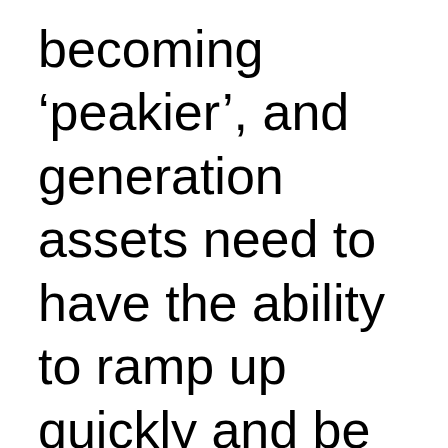becoming ‘peakier’, and generation assets need to have the ability to ramp up quickly and be flexible and responsive to changes in demand.”